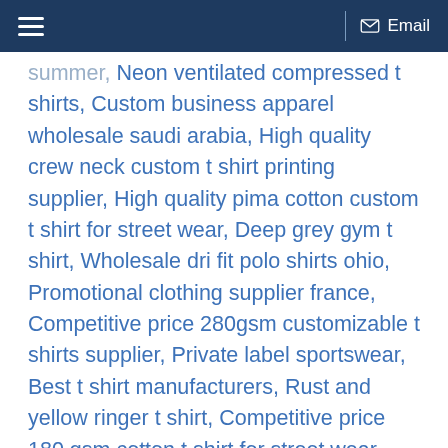Email
summer, Neon ventilated compressed t shirts, Custom business apparel wholesale saudi arabia, High quality crew neck custom t shirt printing supplier, High quality pima cotton custom t shirt for street wear, Deep grey gym t shirt, Wholesale dri fit polo shirts ohio, Promotional clothing supplier france, Competitive price 280gsm customizable t shirts supplier, Private label sportswear, Best t shirt manufacturers, Rust and yellow ringer t shirt, Competitive price 180 gsm cotton t shirt for street wear, High quality polyester customizable t shirts for summer, Wholesale dri fit polo shirts mauritius, High quality bamboo spandex unisex t shirt manufacturer, Competitive price v neck embroider t shirt manufacturer, Black heavy weight tshirts cotton t shirt for gym tshirt, Offwhite bamboo cotton custom t